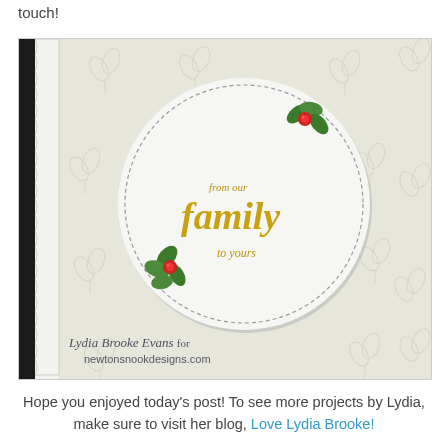touch!
[Figure (photo): A handmade Christmas card featuring a white embossed holly pattern background, a black scalloped edge strip on the left, and a large circular die-cut medallion in the center. The medallion contains gold script text reading 'from our family to yours' with green holly leaves and red gem embellishments. Watermark reads 'Lydia Brooke Evans for newtonsnookdesigns.com'.]
Hope you enjoyed today's post! To see more projects by Lydia, make sure to visit her blog, Love Lydia Brooke!